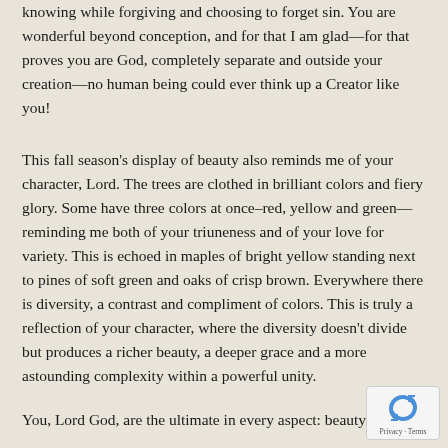knowing while forgiving and choosing to forget sin. You are wonderful beyond conception, and for that I am glad—for that proves you are God, completely separate and outside your creation—no human being could ever think up a Creator like you!
This fall season's display of beauty also reminds me of your character, Lord. The trees are clothed in brilliant colors and fiery glory. Some have three colors at once–red, yellow and green—reminding me both of your triuneness and of your love for variety. This is echoed in maples of bright yellow standing next to pines of soft green and oaks of crisp brown. Everywhere there is diversity, a contrast and compliment of colors. This is truly a reflection of your character, where the diversity doesn't divide but produces a richer beauty, a deeper grace and a more astounding complexity within a powerful unity.
You, Lord God, are the ultimate in every aspect: beauty and